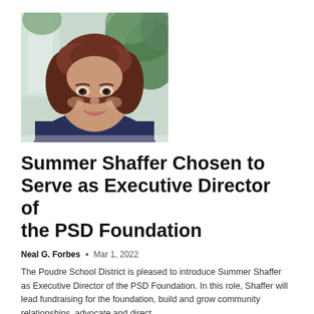[Figure (photo): Portrait photo of Summer Shaffer, a woman with curly auburn hair, smiling, wearing a dark blue top, with green plants in the background and a window visible.]
Summer Shaffer Chosen to Serve as Executive Director of the PSD Foundation
Neal G. Forbes • Mar 1, 2022
The Poudre School District is pleased to introduce Summer Shaffer as Executive Director of the PSD Foundation. In this role, Shaffer will lead fundraising for the foundation, build and grow community relationships, advocate and direct...